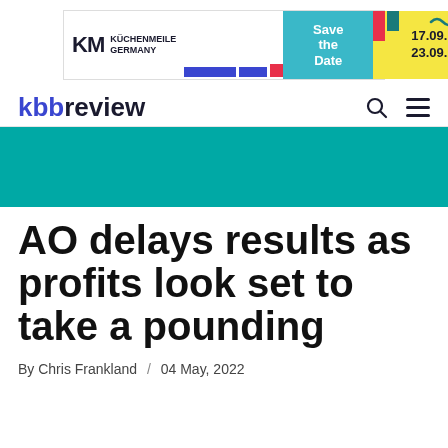[Figure (other): Kuchenmeile Germany banner ad: KM logo on white left section with blue bars and red square, teal middle section with 'Save the Date' text, yellow right section with '17.09. - 23.09.2022' date text and decorative teal squiggle and colored blocks]
kbbreview
[Figure (other): Teal/turquoise horizontal banner strip]
AO delays results as profits look set to take a pounding
By Chris Frankland / 04 May, 2022